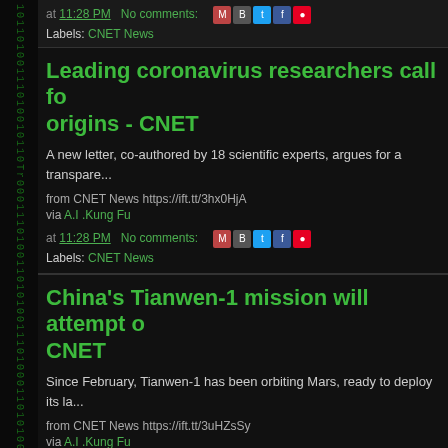at 11:28 PM   No comments:  [share icons]
Labels: CNET News
Leading coronavirus researchers call fo... origins - CNET
A new letter, co-authored by 18 scientific experts, argues for a transpare...
from CNET News https://ift.tt/3hx0HjA
via A.I .Kung Fu
at 11:28 PM   No comments:  [share icons]
Labels: CNET News
China's Tianwen-1 mission will attempt o... CNET
Since February, Tianwen-1 has been orbiting Mars, ready to deploy its la...
from CNET News https://ift.tt/3uHZsSy
via A.I .Kung Fu